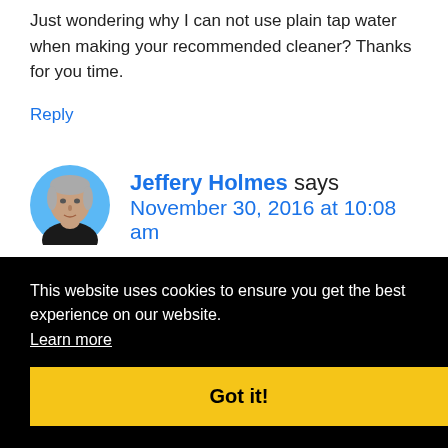Just wondering why I can not use plain tap water when making your recommended cleaner? Thanks for you time.
Reply
[Figure (photo): Circular avatar photo of Jeffery Holmes, a middle-aged man with gray hair wearing a black shirt, set against a light blue background.]
Jeffery Holmes says
November 30, 2016 at 10:08 am
This website uses cookies to ensure you get the best experience on our website. Learn more
Got it!
Reply